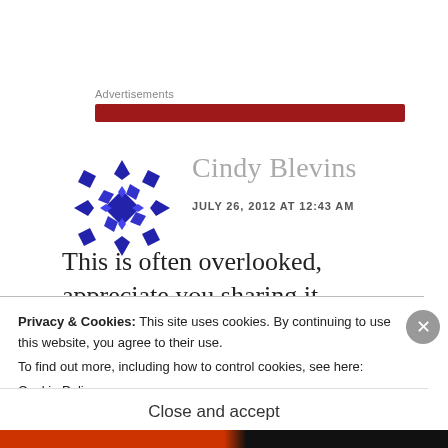Advertisements
[Figure (other): Red advertisement banner bar]
[Figure (illustration): Blue geometric snowflake/quilt pattern avatar for commenter Cindy Blevins]
Cindy Blevins
JULY 26, 2012 AT 12:43 AM
This is often overlooked, appreciate you sharing it.
Privacy & Cookies: This site uses cookies. By continuing to use this website, you agree to their use.
To find out more, including how to control cookies, see here:
Cookie Policy
Close and accept